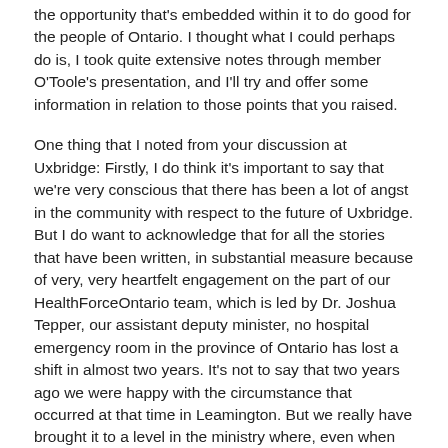the opportunity that's embedded within it to do good for the people of Ontario. I thought what I could perhaps do is, I took quite extensive notes through member O'Toole's presentation, and I'll try and offer some information in relation to those points that you raised.
One thing that I noted from your discussion at Uxbridge: Firstly, I do think it's important to say that we're very conscious that there has been a lot of angst in the community with respect to the future of Uxbridge. But I do want to acknowledge that for all the stories that have been written, in substantial measure because of very, very heartfelt engagement on the part of our HealthForceOntario team, which is led by Dr. Joshua Tepper, our assistant deputy minister, no hospital emergency room in the province of Ontario has lost a shift in almost two years. It's not to say that two years ago we were happy with the circumstance that occurred at that time in Leamington. But we really have brought it to a level in the ministry where, even when hospitals have decided